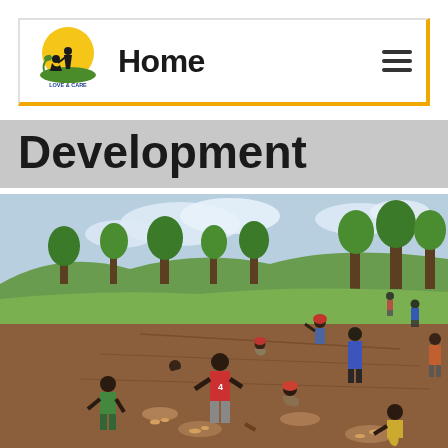Home
Development
[Figure (photo): Group of people working in an agricultural field, harvesting crops on a hillside. Trees and sky visible in the background. Children and adults are digging and collecting root vegetables from the soil. The scene appears to be in sub-Saharan Africa.]